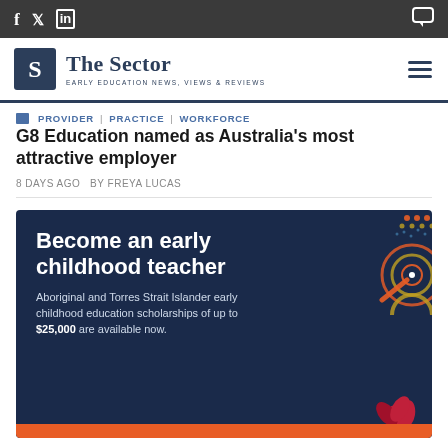The Sector - Early Education News, Views & Reviews
PROVIDER | PRACTICE | WORKFORCE
G8 Education named as Australia's most attractive employer
8 DAYS AGO  BY FREYA LUCAS
[Figure (infographic): Advertisement banner: 'Become an early childhood teacher' - Aboriginal and Torres Strait Islander early childhood education scholarships of up to $25,000 are available now. Dark navy background with decorative Aboriginal art circles and dot patterns in orange and red.]